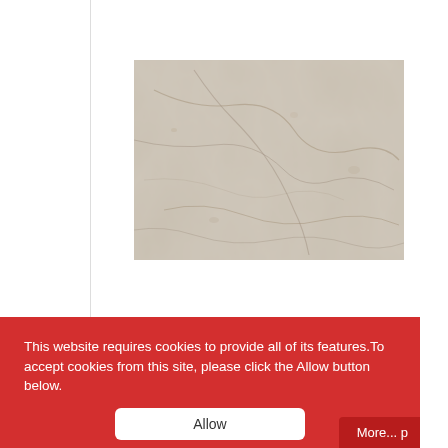[Figure (photo): A photograph of a light beige/cream marble or stone tile surface with subtle gray veining and texture patterns.]
This website requires cookies to provide all of its features. To accept cookies from this site, please click the Allow button below.